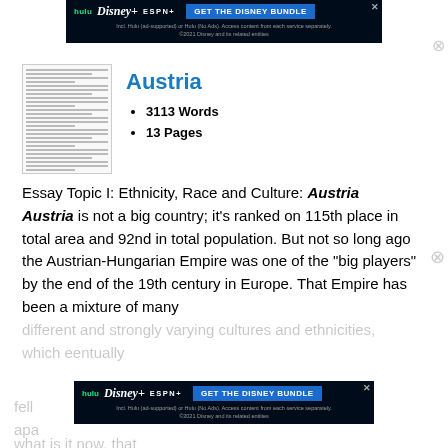[Figure (screenshot): Top Hulu Disney Bundle advertisement banner]
[Figure (screenshot): Thumbnail preview of document pages]
Austria
3113 Words
13 Pages
Essay Topic I: Ethnicity, Race and Culture: Austria Austria is not a big country; it’s ranked on 115th place in total area and 92nd in total population. But not so long ago the Austrian-Hungarian Empire was one of the “big players” by the end of the 19th century in Europe. That Empire has been a mixture of many different and strongly varying cultures and ethnicities, which eventually and inevitably fell apart, leaving what is it now, that
[Figure (screenshot): Bottom Hulu Disney Bundle advertisement banner]